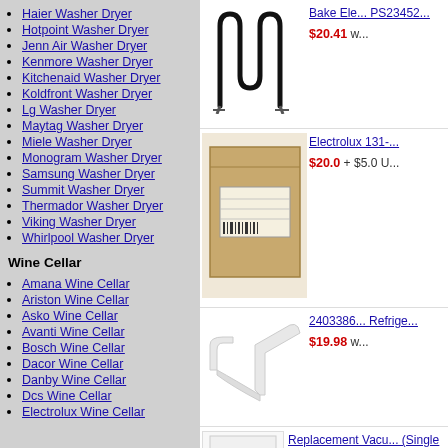Haier Washer Dryer
Hotpoint Washer Dryer
Jenn Air Washer Dryer
Kenmore Washer Dryer
Kitchenaid Washer Dryer
Koldfront Washer Dryer
Lg Washer Dryer
Maytag Washer Dryer
Miele Washer Dryer
Monogram Washer Dryer
Samsung Washer Dryer
Summit Washer Dryer
Thermador Washer Dryer
Viking Washer Dryer
Whirlpool Washer Dryer
Wine Cellar
Amana Wine Cellar
Ariston Wine Cellar
Asko Wine Cellar
Avanti Wine Cellar
Bosch Wine Cellar
Dacor Wine Cellar
Danby Wine Cellar
Dcs Wine Cellar
Electrolux Wine Cellar
[Figure (photo): Bake element heating coil with W-shape, product PS23452, priced $20.41]
[Figure (photo): Electrolux 131- product in cardboard box, priced $20.0 + $5.0 U...]
[Figure (photo): 2403386 Refrigerator white plastic shelf/bracket part, priced $19.98]
[Figure (photo): Replacement Vacuum (Single Pack) product image]